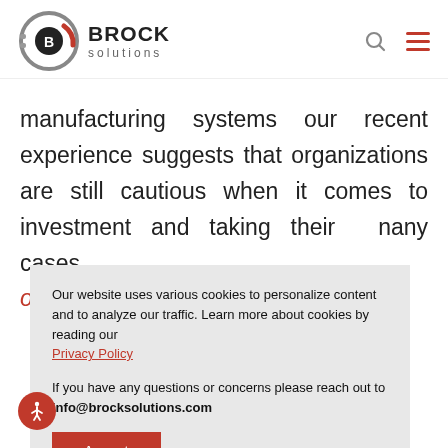Brock Solutions
manufacturing systems our recent experience suggests that organizations are still cautious when it comes to investment and taking their many cases, [red italic: oned]. Yet in [red italic: er] functions appears its numerous ' consulting
Our website uses various cookies to personalize content and to analyze our traffic. Learn more about cookies by reading our Privacy Policy

If you have any questions or concerns please reach out to info@brocksolutions.com
Accept